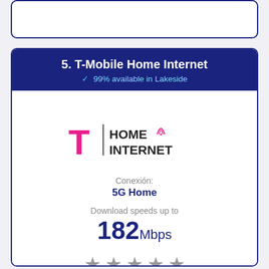5. T-Mobile Home Internet
99% available in Lakeside
[Figure (logo): T-Mobile Home Internet logo with magenta T and HOME INTERNET text]
Conexión:
5G Home
Download speeds up to
182Mbps
[Figure (other): Five gray star rating icons]